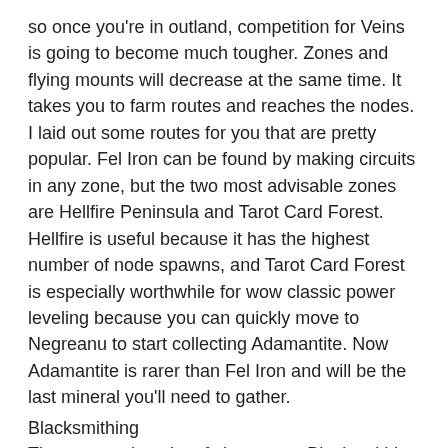so once you're in outland, competition for Veins is going to become much tougher. Zones and flying mounts will decrease at the same time. It takes you to farm routes and reaches the nodes. I laid out some routes for you that are pretty popular. Fel Iron can be found by making circuits in any zone, but the two most advisable zones are Hellfire Peninsula and Tarot Card Forest. Hellfire is useful because it has the highest number of node spawns, and Tarot Card Forest is especially worthwhile for wow classic power leveling because you can quickly move to Negreanu to start collecting Adamantite. Now Adamantite is rarer than Fel Iron and will be the last mineral you'll need to gather.
Blacksmithing
There are quite a lot of changes to Blacksmithing in TBC. Blacksmithing is basically the craft of allowing players to